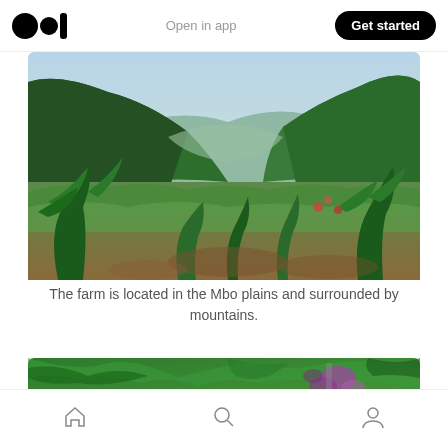Open in app  Get started
[Figure (photo): Panoramic landscape photo of the Mbo plains surrounded by lush green mountains with a valley town visible in the background]
The farm is located in the Mbo plains and surrounded by mountains.
[Figure (photo): Close-up photo of green tropical foliage with purple flowers, partially cropped]
Home  Search  Profile navigation icons